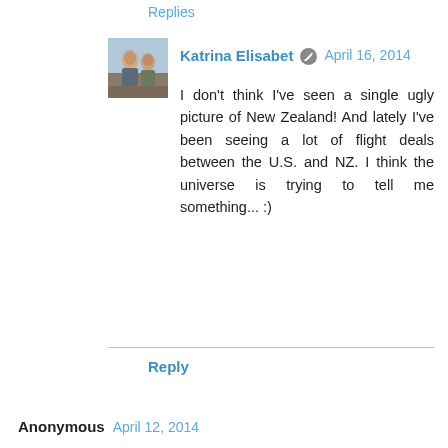Replies
[Figure (photo): Profile photo of two people outdoors]
Katrina Elisabet  April 16, 2014
I don't think I've seen a single ugly picture of New Zealand! And lately I've been seeing a lot of flight deals between the U.S. and NZ. I think the universe is trying to tell me something... :)
Reply
Anonymous  April 12, 2014
Some crackers there - I hope you make it...
I did a similar list to this leading up to my 30th. I never did make it to my number 1 (Rio) and time is running out to get there before my 40th. :(
Reply
Replies